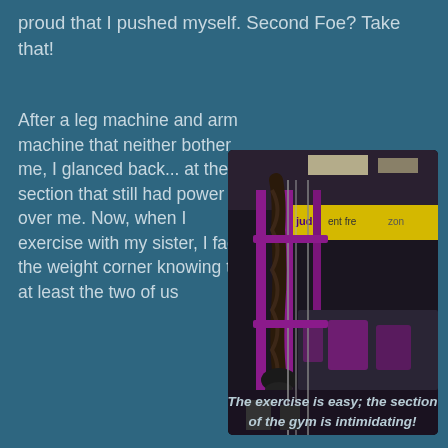proud that I pushed myself. Second Foe? Take that!
After a leg machine and arm machine that neither bother me, I glanced back... at the section that still had power over me. Now, when I exercise with my sister, I face the weight corner knowing that at least the two of us
[Figure (photo): Photo of Planet Fitness gym equipment area with purple cable machines and rope attachment in foreground, yellow 'judgment free zone' banner visible in background]
The exercise is easy; the section of the gym is intimidating!